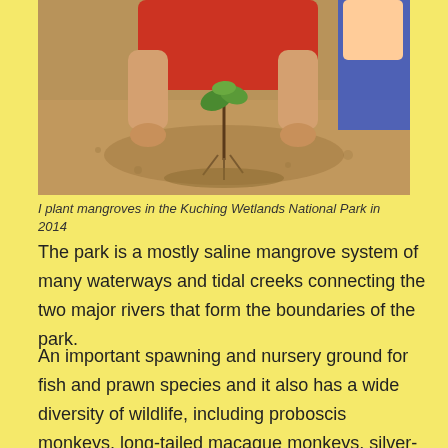[Figure (photo): Person planting mangroves in muddy water at Kuching Wetlands National Park, with another person visible in the background]
I plant mangroves in the Kuching Wetlands National Park in 2014
The park is a mostly saline mangrove system of many waterways and tidal creeks connecting the two major rivers that form the boundaries of the park.
An important spawning and nursery ground for fish and prawn species and it also has a wide diversity of wildlife, including proboscis monkeys, long-tailed macaque monkeys, silver-leaf monkeys, monitor lizards, estuarine crocodiles and a range of bird life, including kingfishers, white-bellied sea eagles and